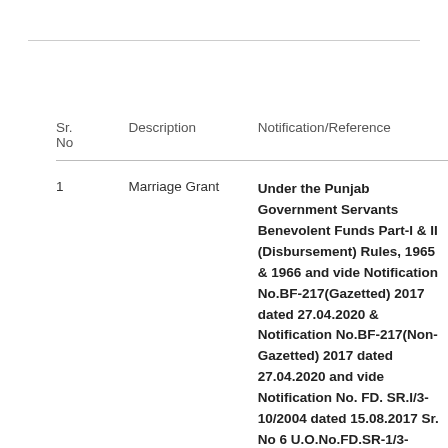| Sr. No | Description | Notification/Reference |
| --- | --- | --- |
| 1 | Marriage Grant | Under the Punjab Government Servants Benevolent Funds Part-I & II (Disbursement) Rules, 1965 & 1966 and vide Notification No.BF-217(Gazetted) 2017 dated 27.04.2020 & Notification No.BF-217(Non-Gazetted) 2017 dated 27.04.2020 and vide Notification No. FD. SR.I/3-10/2004 dated 15.08.2017 Sr. No 6 U.O.No.FD.SR-1/3-10/2004(P) dated 12.09.2017.

For the marriage of each daughter of a |